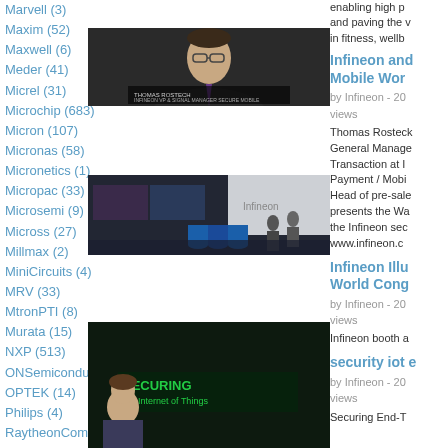Marvell (3)
Maxim (52)
Maxwell (6)
Meder (41)
Micrel (31)
Microchip (683)
Micron (107)
Micronas (58)
Micronetics (1)
Micropac (33)
Microsemi (9)
Micross (27)
Millmax (2)
MiniCircuits (4)
MRV (33)
MtronPTI (8)
Murata (15)
NXP (513)
ONSemiconductor (260)
OPTEK (14)
Philips (4)
RaytheonCompany (173)
Renesas (656)
RFMDevices (87)
Rochester (37)
Sony (681)
STMicroelectronics (242)
TexasInstruments (2,017)
VirginiaPanel (42)
Vishay (232)
enabling high p and paving the v in fitness, wellb
Infineon and Mobile Wor
by Infineon - 20 views
Thomas Rosteck General Manage Transaction at I Payment / Mobi Head of pre-sale presents the Wa the Infineon sec www.infineon.c
[Figure (photo): Video thumbnail showing Thomas Rostech, Infineon VP and Signal Manager Secure Mobile Transaction, speaking to camera in suit and glasses]
Infineon Illu World Cong
by Infineon - 20 views
Infineon booth a
[Figure (photo): Video thumbnail showing Infineon booth at Mobile World Congress with blue cylindrical displays and branding wall]
security iot e
by Infineon - 20 views
Securing End-T
[Figure (photo): Video thumbnail showing security IoT Internet of Things topic with green text overlay and woman presenter]